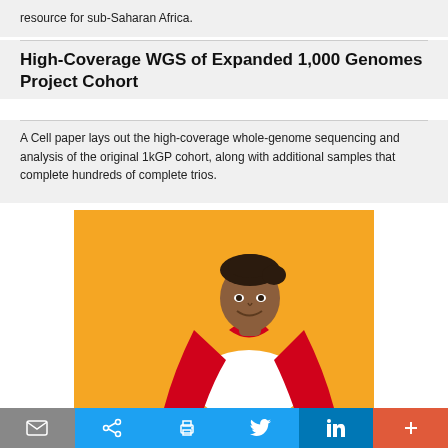resource for sub-Saharan Africa.
High-Coverage WGS of Expanded 1,000 Genomes Project Cohort
A Cell paper lays out the high-coverage whole-genome sequencing and analysis of the original 1kGP cohort, along with additional samples that complete hundreds of complete trios.
[Figure (photo): Woman in white top and red superhero cape, arms crossed, smiling, against an orange/yellow background.]
Email | Share | Print | Twitter | LinkedIn | More